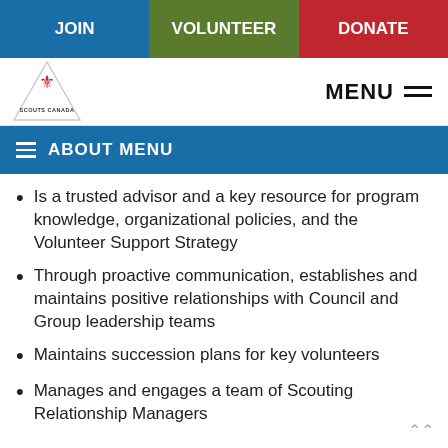JOIN | VOLUNTEER | DONATE
[Figure (logo): Scouts Canada logo — triangular badge with fleur-de-lis]
≡ ABOUT MENU
Is a trusted advisor and a key resource for program knowledge, organizational policies, and the Volunteer Support Strategy
Through proactive communication, establishes and maintains positive relationships with Council and Group leadership teams
Maintains succession plans for key volunteers
Manages and engages a team of Scouting Relationship Managers